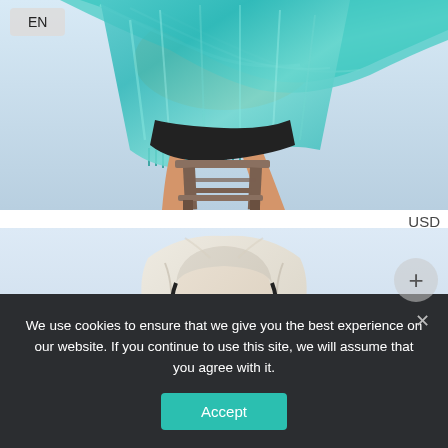[Figure (photo): Person seated on a wooden stool wrapped in a teal/turquoise fringed shawl, light blue background. Upper portion of the image showing legs and the scarf draped over the body. An 'EN' language selector button is overlaid in the top-left corner.]
USD
[Figure (photo): Person with long dark hair wearing a light beige/cream head covering draped over their head and shoulders, looking downward, light blue/white background.]
We use cookies to ensure that we give you the best experience on our website. If you continue to use this site, we will assume that you agree with it.
Accept